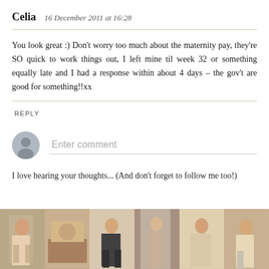Celia   16 December 2011 at 16:28
You look great :) Don't worry too much about the maternity pay, they're SO quick to work things out, I left mine til week 32 or something equally late and I had a response within about 4 days - the gov't are good for something!!xx
REPLY
[Figure (illustration): Comment input area with grey avatar circle and 'Enter comment' placeholder text input field]
I love hearing your thoughts... (And don't forget to follow me too!)
[Figure (photo): Photo strip at the bottom showing multiple lifestyle/fashion photos of a woman]